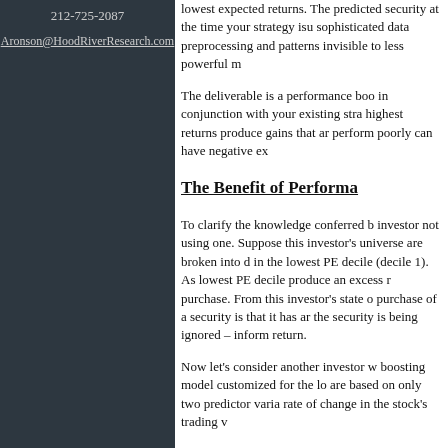212-725-2087
Aronson@HoodRiverResearch.com
lowest expected returns. The predicted security at the time your strategy issues sophisticated data preprocessing and patterns invisible to less powerful m...
The deliverable is a performance boo... in conjunction with your existing stra... highest returns produce gains that are... perform poorly can have negative ex...
The Benefit of Performa...
To clarify the knowledge conferred b... investor not using one. Suppose this investor's universe are broken into de... in the lowest PE decile (decile 1). As... lowest PE decile produce an excess r... purchase. From this investor's state o... purchase of a security is that it has ar... the security is being ignored – inform... return.
Now let's consider another investor w... boosting model customized for the lo... are based on only two predictor varia... rate of change in the stock's trading v...